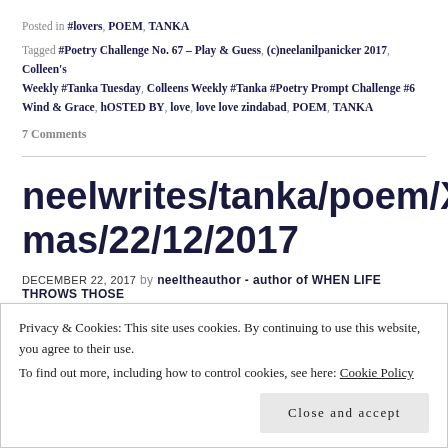Posted in #lovers, POEM, TANKA
Tagged #Poetry Challenge No. 67 – Play & Guess, (c)neelanilpanicker 2017, Colleen's Weekly #Tanka Tuesday, Colleens Weekly #Tanka #Poetry Prompt Challenge #6 Wind & Grace, hOSTED BY, love, love love zindabad, POEM, TANKA
7 Comments
neelwrites/tanka/poem/X-mas/22/12/2017
DECEMBER 22, 2017 by neeltheauthor - author of WHEN LIFE THROWS THOSE CURVE BALLS
Privacy & Cookies: This site uses cookies. By continuing to use this website, you agree to their use.
To find out more, including how to control cookies, see here: Cookie Policy
Close and accept